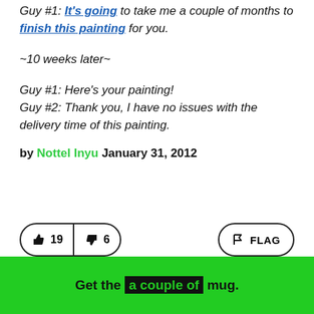Guy #1: It's going to take me a couple of months to finish this painting for you.
~10 weeks later~
Guy #1: Here's your painting!
Guy #2: Thank you, I have no issues with the delivery time of this painting.
by Nottel Inyu January 31, 2012
[Figure (other): Thumbs up button with count 19, thumbs down button with count 6, and a FLAG button]
Get the a couple of mug.